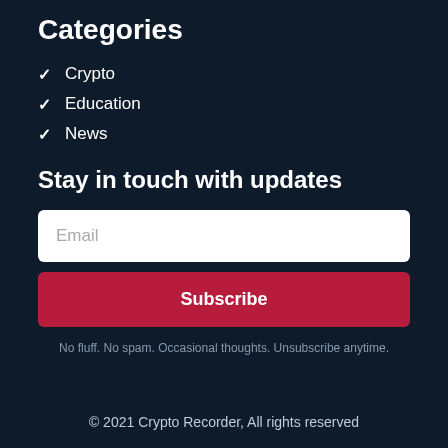Categories
Crypto
Education
News
Stay in touch with updates
Email
Subscribe
No fluff. No spam. Occasional thoughts. Unsubscribe anytime.
© 2021 Crypto Recorder, All rights reserved